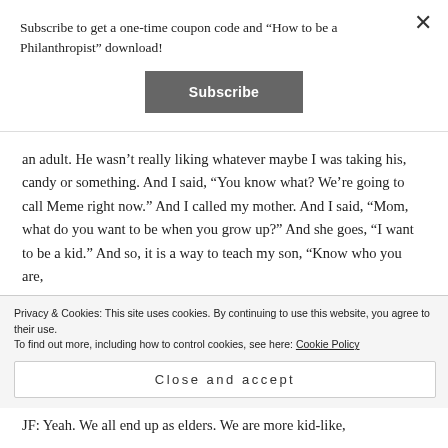Subscribe to get a one-time coupon code and “How to be a Philanthropist” download!
[Figure (other): Subscribe button - dark grey rectangular button with white bold text reading 'Subscribe']
an adult. He wasn't really liking whatever maybe I was taking his, candy or something. And I said, “You know what? We’re going to call Meme right now.” And I called my mother. And I said, “Mom, what do you want to be when you grow up?” And she goes, “I want to be a kid.” And so, it is a way to teach my son, “Know who you are,
Privacy & Cookies: This site uses cookies. By continuing to use this website, you agree to their use.
To find out more, including how to control cookies, see here: Cookie Policy
Close and accept
JF: Yeah. We all end up as elders. We are more kid-like,